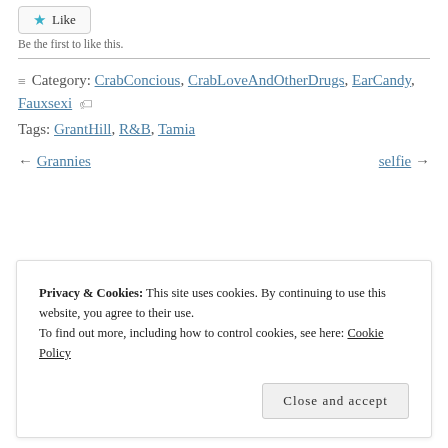[Figure (other): Like button with blue star icon]
Be the first to like this.
≡ Category: CrabConcious, CrabLoveAndOtherDrugs, EarCandy, Fauxsexi 🏷 Tags: GrantHill, R&B, Tamia
← Grannies    selfie →
Privacy & Cookies: This site uses cookies. By continuing to use this website, you agree to their use.
To find out more, including how to control cookies, see here: Cookie Policy
Close and accept